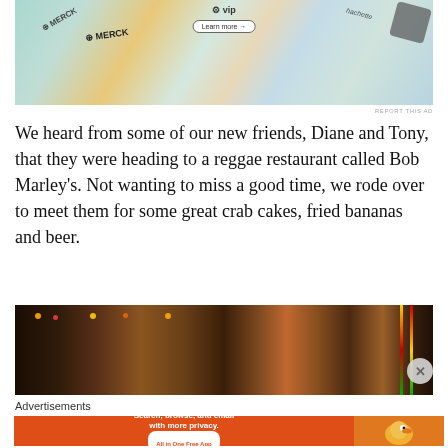[Figure (photo): Advertisement image with Merck branding and colorful card designs]
REPORT THIS AD
We heard from some of our new friends, Diane and Tony, that they were heading to a reggae restaurant called Bob Marley's. Not wanting to miss a good time, we rode over to meet them for some great crab cakes, fried bananas and beer.
[Figure (photo): Interior of Bob Marley's reggae restaurant, colorful decor with a person giving thumbs up]
Advertisements
[Figure (photo): DuckDuckGo advertisement: Search, browse, and email with more privacy. All in One Free App]